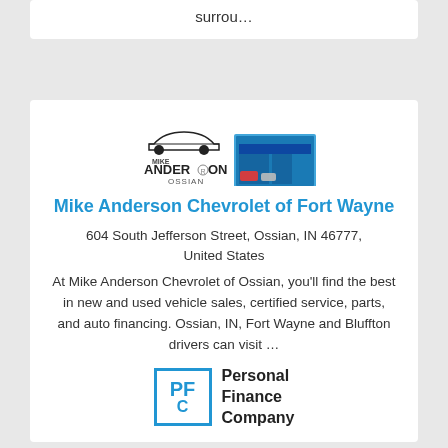surrou…
[Figure (logo): Mike Anderson Ossian dealership logo with car silhouette and dealership photo]
Mike Anderson Chevrolet of Fort Wayne
604 South Jefferson Street, Ossian, IN 46777, United States
At Mike Anderson Chevrolet of Ossian, you'll find the best in new and used vehicle sales, certified service, parts, and auto financing. Ossian, IN, Fort Wayne and Bluffton drivers can visit …
[Figure (logo): Personal Finance Company logo — PFC square badge with company name text]